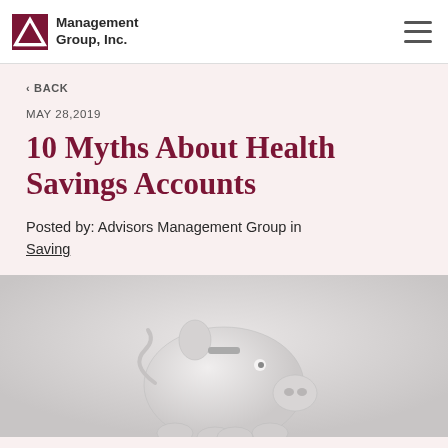Management Group, Inc.
< BACK
MAY 28,2019
10 Myths About Health Savings Accounts
Posted by: Advisors Management Group in Saving
[Figure (photo): A white ceramic piggy bank on a light grey background, photographed from above and slightly to the side.]